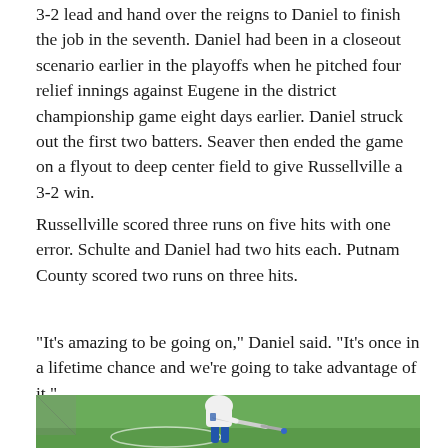3-2 lead and hand over the reigns to Daniel to finish the job in the seventh. Daniel had been in a closeout scenario earlier in the playoffs when he pitched four relief innings against Eugene in the district championship game eight days earlier. Daniel struck out the first two batters. Seaver then ended the game on a flyout to deep center field to give Russellville a 3-2 win.
Russellville scored three runs on five hits with one error. Schulte and Daniel had two hits each. Putnam County scored two runs on three hits.
"It's amazing to be going on," Daniel said. "It's once in a lifetime chance and we're going to take advantage of it."
[Figure (photo): A baseball player in white uniform and white helmet swinging a bat on a green grass field.]